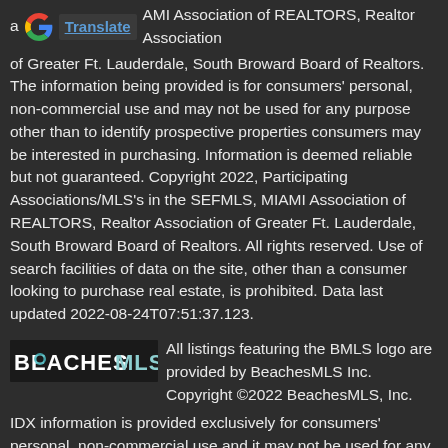a [Google Translate] AMI Association of REALTORS, Realtor Association of Greater Ft. Lauderdale, South Broward Board of Realtors. The information being provided is for consumers' personal, non-commercial use and may not be used for any purpose other than to identify prospective properties consumers may be interested in purchasing. Information is deemed reliable but not guaranteed. Copyright 2022, Participating Associations/MLS's in the SEFMLS, MIAMI Association of REALTORS, Realtor Association of Greater Ft. Lauderdale, South Broward Board of Realtors. All rights reserved. Use of search facilities of data on the site, other than a consumer looking to purchase real estate, is prohibited. Data last updated 2022-08-24T07:51:37.123.
[Figure (logo): BeachesMLS logo in teal and grey]
All listings featuring the BMLS logo are provided by BeachesMLS Inc. Copyright ©2022 BeachesMLS, Inc.
IDX information is provided exclusively for consumers' personal, non-commercial use and it may not be used for any purpose other than to identify prospective properties consumers may be interested in purchasing. This information is not verified for authenticity or accuracy and is not guaranteed. Data last updated